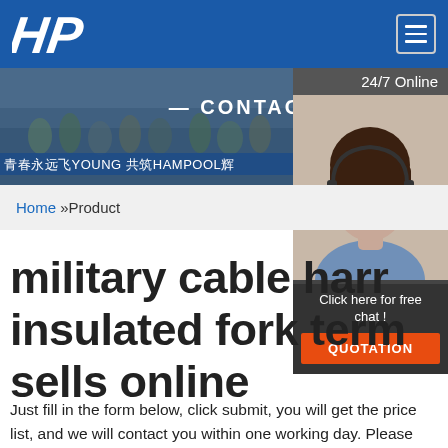[Figure (logo): HP logo - white italic bold letters H and P on blue background]
[Figure (photo): Group photo of employees/team outdoors with banner reading CONTACT US and Chinese text 青春永远飞YOUNG 共筑HAMPOOL]
[Figure (photo): Customer service agent - woman with headset, smiling, with 24/7 Online label and Click here for free chat / QUOTATION button]
Home »Product
military cable harness insulated fork terminal sells online
Just fill in the form below, click submit, you will get the price list, and we will contact you within one working day. Please also feel free to contact us via email or phone. (*